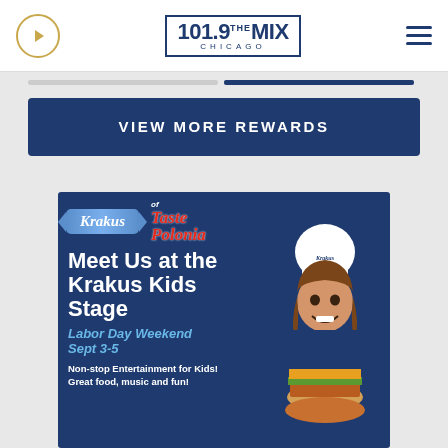[Figure (logo): 101.9 The MIX Chicago radio station logo with play button and hamburger menu]
VIEW MORE REWARDS
[Figure (illustration): Krakus brand advertisement for Taste of Polonia event. Text: Meet Us at the Krakus Kids Stage. Labor Day Weekend Sept 3-5. Non-stop Entertainment for Kids! Great food, music and fun!]